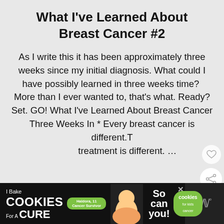What I've Learned About Breast Cancer #2
As I write this it has been approximately three weeks since my initial diagnosis. What could I have possibly learned in three weeks time?  More than I ever wanted to, that's what. Ready? Set. GO! What I've Learned About Breast Cancer Three Wees In * Every breast cancer is different. T treatment is different. …
[Figure (screenshot): Bottom advertisement bar: I Bake COOKIES For A CURE — So can you! cookies for kids cancer. With image of a girl and a close button.]